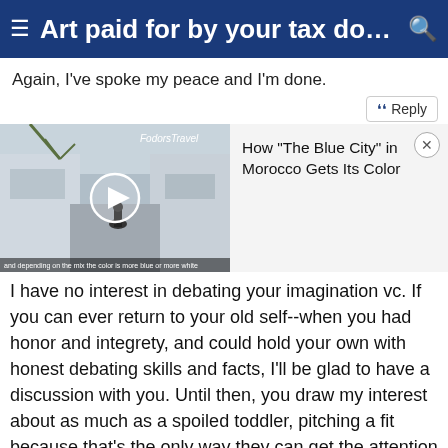Art paid for by your tax dollar. A...
Again, I've spoke my peace and I'm done.
[Figure (screenshot): Video thumbnail showing a narrow alleyway with a person walking; Fodors Travel branding visible. Play button overlay. Caption at bottom: 'and depending on the mix the color is more blue or more white']
How "The Blue City" in Morocco Gets Its Color
I have no interest in debating your imagination vc. If you can ever return to your old self--when you had honor and integrety, and could hold your own with honest debating skills and facts, I'll be glad to have a discussion with you. Until then, you draw my interest about as much as a spoiled toddler, pitching a fit because that's the only way they can get the attention they crave. I won't pretend you offer any sort of intellectual challenge, although I will give you credit for a very over-active imagination. Your posts keep getting more dishonest, more ridiculous, more off the wall. I suggest